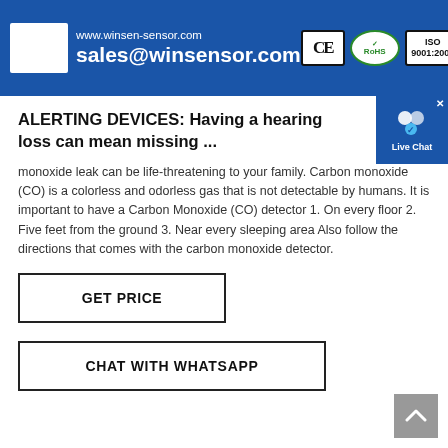[Figure (other): Blue banner with website URL www.winsen-sensor.com and email sales@winsensor.com, with CE, RoHS, and ISO 9001:2008 certification badges]
ALERTING DEVICES: Having a hearing loss can mean missing ...
monoxide leak can be life-threatening to your family. Carbon monoxide (CO) is a colorless and odorless gas that is not detectable by humans. It is important to have a Carbon Monoxide (CO) detector 1. On every floor 2. Five feet from the ground 3. Near every sleeping area Also follow the directions that comes with the carbon monoxide detector.
GET PRICE
CHAT WITH WHATSAPP